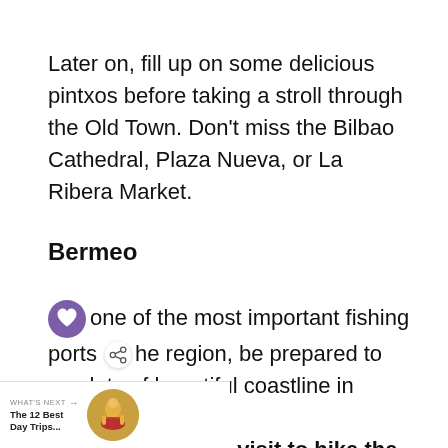Later on, fill up on some delicious pintxos before taking a stroll through the Old Town. Don't miss the Bilbao Cathedral, Plaza Nueva, or La Ribera Market.
Bermeo
one of the most important fishing ports the region, be prepared to see lots of beautiful coastline in Bermeo. Many decide to visit to hike the scenic steps to San Juan de